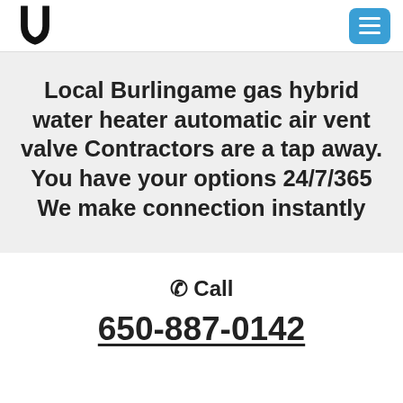[Figure (logo): U-shaped logo mark in black, resembling a letter U with a pointed bottom]
[Figure (other): Blue rounded rectangle hamburger menu button with three white horizontal lines]
Local Burlingame gas hybrid water heater automatic air vent valve Contractors are a tap away. You have your options 24/7/365 We make connection instantly
✆ Call
650-887-0142